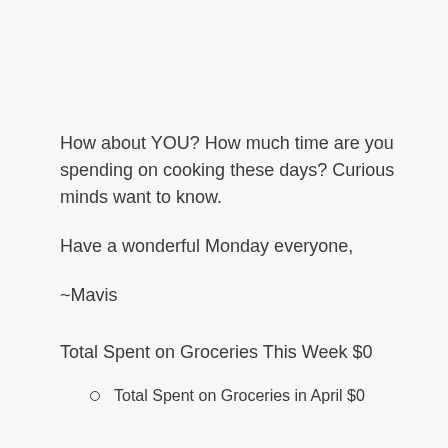How about YOU? How much time are you spending on cooking these days? Curious minds want to know.
Have a wonderful Monday everyone,
~Mavis
Total Spent on Groceries This Week $0
Total Spent on Groceries in April $0